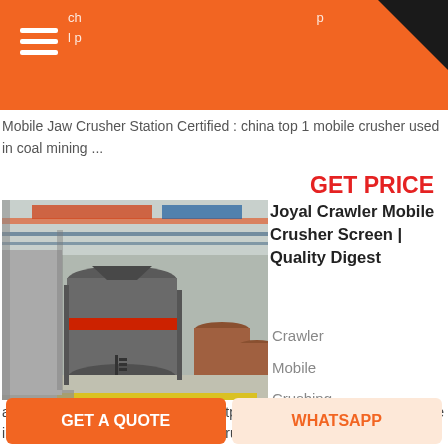Mobile Jaw Crusher Station Certified : china top 1 mobile crusher used in coal mining ...
GET PRICE
[Figure (photo): Industrial mobile crusher/screening machine inside a large factory building with overhead cranes and multiple cylindrical crushing units on stands]
Joyal Crawler Mobile Crusher Screen | Quality Digest
Crawler
Mobile
Crushing
and Screening Station is of high costperformance ratio, and it is reliable in performance and reasonable in structure. Crawler
GET A QUOTE    WHATSAPP